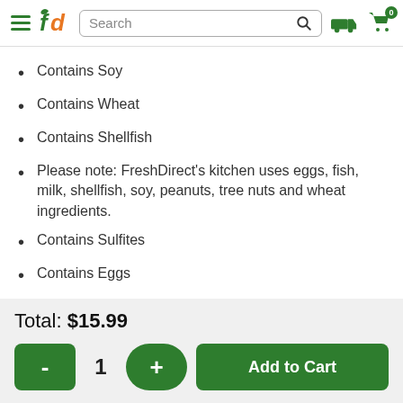FreshDirect navigation header with logo, search bar, delivery and cart icons
Contains Soy
Contains Wheat
Contains Shellfish
Please note: FreshDirect's kitchen uses eggs, fish, milk, shellfish, soy, peanuts, tree nuts and wheat ingredients.
Contains Sulfites
Contains Eggs
Total: $15.99